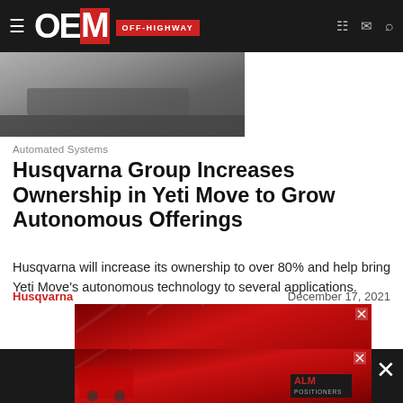OEM OFF-HIGHWAY
[Figure (photo): Partial article header photo showing a vehicle or machinery in outdoor/paving context, partially cropped by navigation bar]
Automated Systems
Husqvarna Group Increases Ownership in Yeti Move to Grow Autonomous Offerings
Husqvarna will increase its ownership to over 80% and help bring Yeti Move's autonomous technology to several applications.
Husqvarna    December 17, 2021
[Figure (photo): Advertisement banner with red gradient background (ALM Positioners branding)]
[Figure (photo): Bottom advertisement bar with red gradient background and ALM Positioners logo]